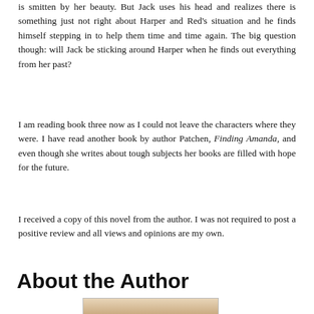is smitten by her beauty. But Jack uses his head and realizes there is something just not right about Harper and Red's situation and he finds himself stepping in to help them time and time again. The big question though: will Jack be sticking around Harper when he finds out everything from her past?
I am reading book three now as I could not leave the characters where they were. I have read another book by author Patchen, Finding Amanda, and even though she writes about tough subjects her books are filled with hope for the future.
I received a copy of this novel from the author. I was not required to post a positive review and all views and opinions are my own.
About the Author
[Figure (photo): Partial photo of the author, cropped at bottom of page, showing a person with blonde hair.]